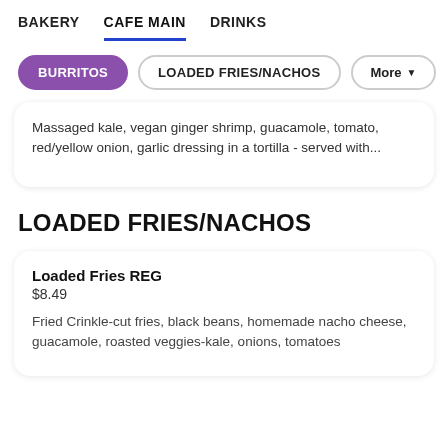BAKERY   CAFE MAIN   DRINKS
BURRITOS
LOADED FRIES/NACHOS
More
Massaged kale, vegan ginger shrimp, guacamole, tomato, red/yellow onion, garlic dressing in a tortilla - served with...
LOADED FRIES/NACHOS
Loaded Fries REG
$8.49
Fried Crinkle-cut fries, black beans, homemade nacho cheese, guacamole, roasted veggies-kale, onions, tomatoes